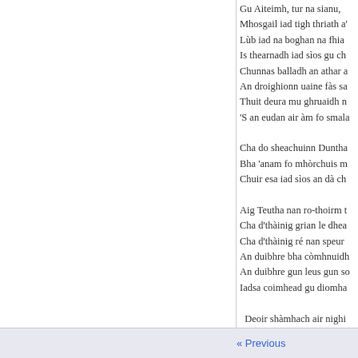Gu Aiteimh, tur na sianu, / Mhosgail iad tigh thriath a' / Lùb iad na boghan na fhia / Is thearnadh iad sìos gu ch / Chunnas balladh an athar a / An droighionn uaine fàs sa / Thuit deura mu ghruaidh n / 'S an eudan air àm fo smala / Cha do sheachuinn Duntha / Bha 'anam fo mhòrchuis m / Chuir esa iad sìos an dà ch / Aig Teutha nan ro-thoirm t / Cha d'thàinig grian le dhea / Cha d'thàinig ré nan speur / An duibhre bha còmhnuidh / An duibhre gun leus gun so / Iadsa coimhead gu diomha / Deoir shàmhach air nighi / Air Caolmhal nan ciabh's n
« Previous